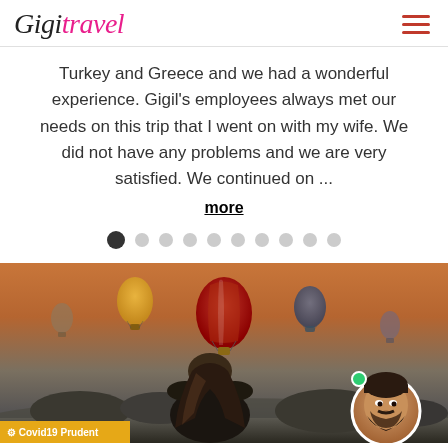GigiTravel
Turkey and Greece and we had a wonderful experience. Gigil's employees always met our needs on this trip that I went on with my wife. We did not have any problems and we are very satisfied. We continued on ...
more
[Figure (illustration): Carousel pagination dots, 10 total, first dot active (dark filled), rest light gray]
[Figure (photo): Travel photo showing hot air balloons at sunset over a rocky landscape (Cappadocia), with a woman viewed from behind in the foreground and a circular avatar of a man in the bottom right corner. A Covid19 Prudent badge appears in the bottom left.]